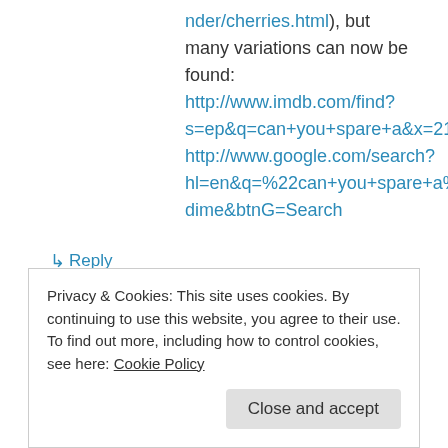nder/cherries.html), but many variations can now be found: http://www.imdb.com/find?s=ep&q=can+you+spare+a&x=21&y=7 http://www.google.com/search?hl=en&q=%22can+you+spare+a%22+-dime&btnG=Search
↳ Reply
Josh Musick on January 2, 2008 at 3:03 pm
Privacy & Cookies: This site uses cookies. By continuing to use this website, you agree to their use. To find out more, including how to control cookies, see here: Cookie Policy